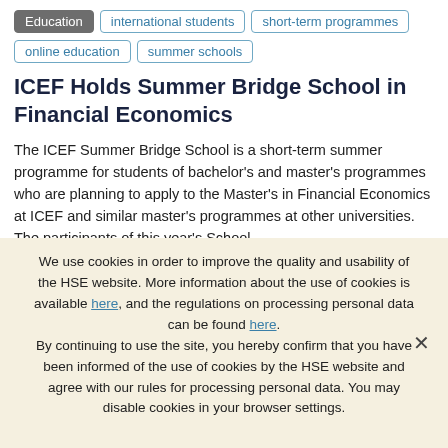Education
international students
short-term programmes
online education
summer schools
ICEF Holds Summer Bridge School in Financial Economics
The ICEF Summer Bridge School is a short-term summer programme for students of bachelor's and master's programmes who are planning to apply to the Master's in Financial Economics at ICEF and similar master's programmes at other universities. The participants of this year's School
We use cookies in order to improve the quality and usability of the HSE website. More information about the use of cookies is available here, and the regulations on processing personal data can be found here. By continuing to use the site, you hereby confirm that you have been informed of the use of cookies by the HSE website and agree with our rules for processing personal data. You may disable cookies in your browser settings.